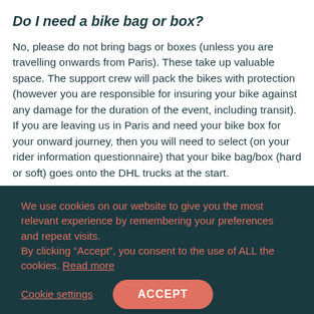Do I need a bike bag or box?
No, please do not bring bags or boxes (unless you are travelling onwards from Paris). These take up valuable space. The support crew will pack the bikes with protection (however you are responsible for insuring your bike against any damage for the duration of the event, including transit). If you are leaving us in Paris and need your bike box for your onward journey, then you will need to select (on your rider information questionnaire) that your bike bag/box (hard or soft) goes onto the DHL trucks at the start.
We use cookies on our website to give you the most relevant experience by remembering your preferences and repeat visits. By clicking “Accept”, you consent to the use of ALL the cookies. Read more
Cookie settings
ACCEPT